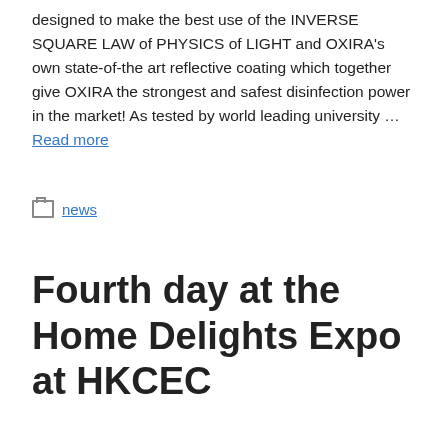designed to make the best use of the INVERSE SQUARE LAW of PHYSICS of LIGHT and OXIRA's own state-of-the art reflective coating which together give OXIRA the strongest and safest disinfection power in the market! As tested by world leading university … Read more
news
Fourth day at the Home Delights Expo at HKCEC